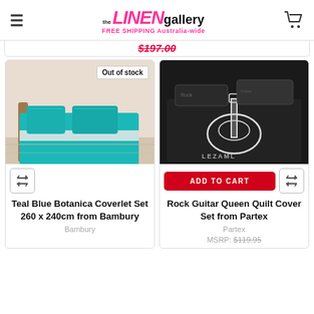the LINEN gallery | FREE SHIPPING Australia-wide
$197.00
[Figure (photo): Teal Blue Botanica Coverlet Set on a bed, Out of stock badge in top right corner]
[Figure (photo): Rock Guitar Queen Quilt Cover Set on a bed, dark background with guitar graphic]
Teal Blue Botanica Coverlet Set 260 x 240cm from Bambury
Bambury
Rock Guitar Queen Quilt Cover Set from Partex
Partex
MSRP: $119.95